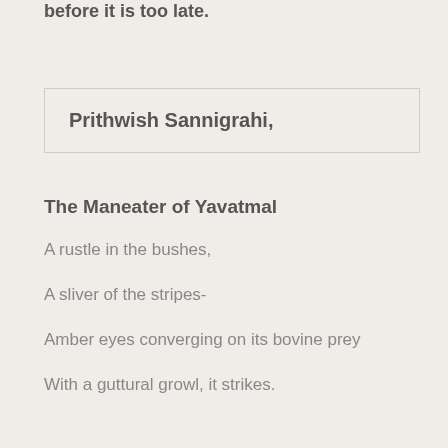before it is too late.
Prithwish Sannigrahi,
The Maneater of Yavatmal
A rustle in the bushes,
A sliver of the stripes-
Amber eyes converging on its bovine prey
With a guttural growl, it strikes.